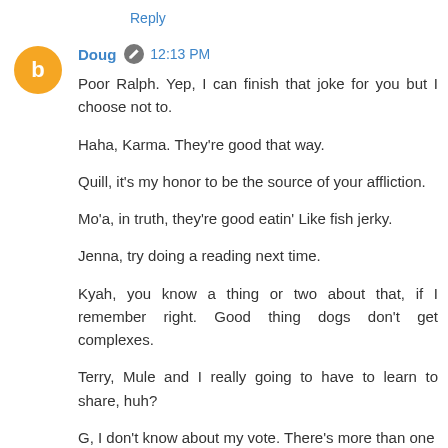Reply
Doug  12:13 PM
Poor Ralph. Yep, I can finish that joke for you but I choose not to.

Haha, Karma. They're good that way.

Quill, it's my honor to be the source of your affliction.

Mo'a, in truth, they're good eatin' Like fish jerky.

Jenna, try doing a reading next time.

Kyah, you know a thing or two about that, if I remember right. Good thing dogs don't get complexes.

Terry, Mule and I really going to have to learn to share, huh?

G, I don't know about my vote. There's more than one